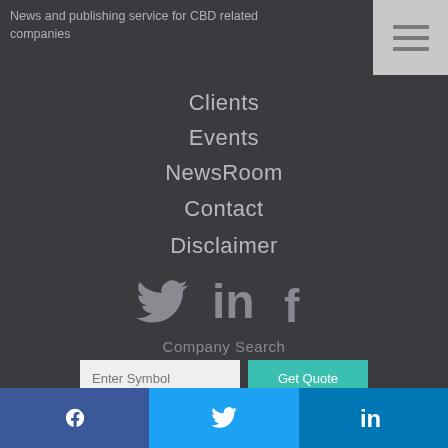News and publishing service for CBD related companies
Clients
Events
NewsRoom
Contact
Disclaimer
[Figure (infographic): Social media icons: Twitter bird, LinkedIn 'in', Facebook 'f']
Company Search
Enter Symbol
Get Quote
Site Search
[Figure (infographic): reCAPTCHA badge in bottom right corner]
f  (twitter bird)  in — bottom sharing bar with Facebook, Twitter, LinkedIn